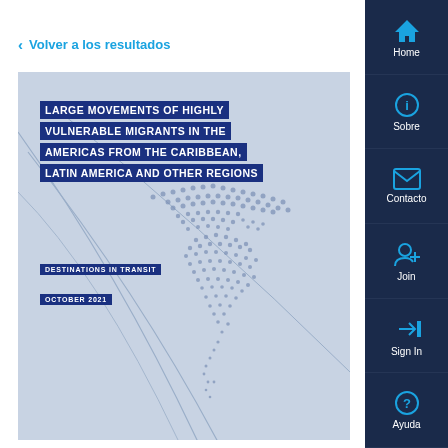< Volver a los resultados
[Figure (screenshot): Document cover for 'Large Movements of Highly Vulnerable Migrants in the Americas from the Caribbean, Latin America and Other Regions – Destinations in Transit, October 2021'. Shows a stylized dotted world map in light blue/grey with curved lines, and the title text in white on dark navy blue boxes.]
Home
Sobre
Contacto
Join
Sign In
Ayuda